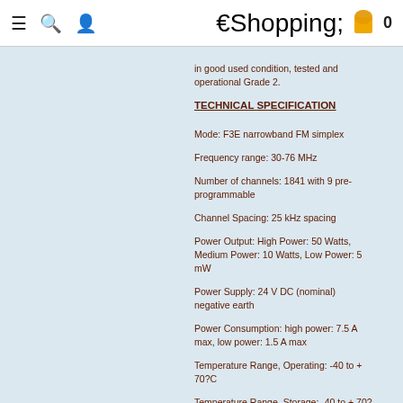☰ 🔍 👤  🛍 0
in good used condition, tested and operational Grade 2.
TECHNICAL SPECIFICATION
Mode: F3E narrowband FM simplex
Frequency range: 30-76 MHz
Number of channels: 1841 with 9 pre-programmable
Channel Spacing: 25 kHz spacing
Power Output: High Power: 50 Watts, Medium Power: 10 Watts, Low Power: 5 mW
Power Supply: 24 V DC (nominal) negative earth
Power Consumption: high power: 7.5 A max, low power: 1.5 A max
Temperature Range, Operating: -40 to + 70?C
Temperature Range, Storage: -40 to + 70?C
Weight: 13.5 kg
[Figure (illustration): PDF icon and Download Technical Manual link]
Download Technical Manual